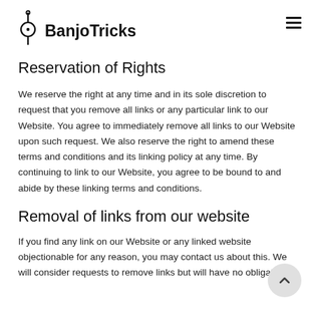BanjoTricks
Reservation of Rights
We reserve the right at any time and in its sole discretion to request that you remove all links or any particular link to our Website. You agree to immediately remove all links to our Website upon such request. We also reserve the right to amend these terms and conditions and its linking policy at any time. By continuing to link to our Website, you agree to be bound to and abide by these linking terms and conditions.
Removal of links from our website
If you find any link on our Website or any linked website objectionable for any reason, you may contact us about this. We will consider requests to remove links but will have no obligation